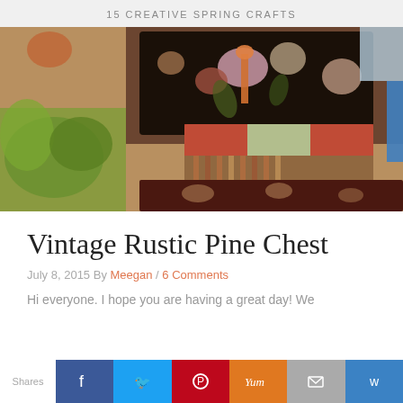15 CREATIVE SPRING CRAFTS
[Figure (photo): A vintage chair with dark floral upholstery and a decorative patchwork pillow, surrounded by plants and a wooden surface.]
Vintage Rustic Pine Chest
July 8, 2015 By Meegan / 6 Comments
Hi everyone. I hope you are having a great day! We